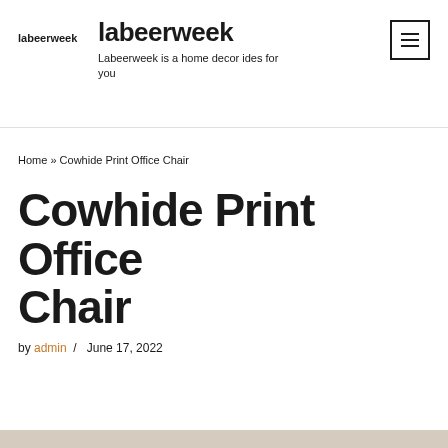labeerweek — labeerweek — Labeerweek is a home decor ides for you
Home » Cowhide Print Office Chair
Cowhide Print Office Chair
by admin / June 17, 2022